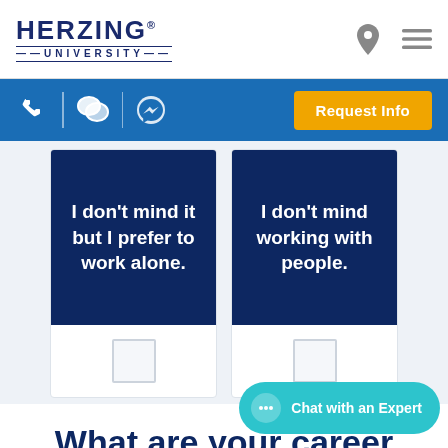[Figure (logo): Herzing University logo with stylized text]
[Figure (screenshot): Navigation bar with phone, chat, and messenger icons, and a Request Info button]
I don't mind it but I prefer to work alone.
I don't mind working with people.
What are your career goals?
[Figure (other): Chat with an Expert button]